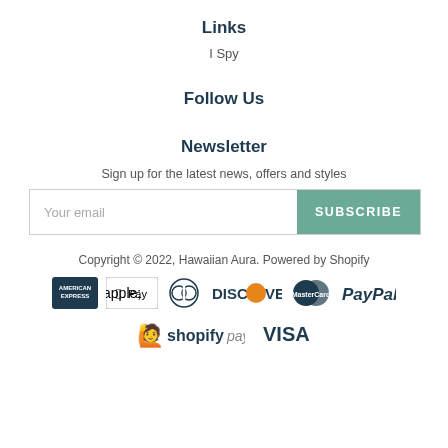Links
I Spy
Follow Us
Newsletter
Sign up for the latest news, offers and styles
Your email | SUBSCRIBE
Copyright © 2022, Hawaiian Aura. Powered by Shopify
[Figure (logo): Payment method logos: American Express, Apple Pay, Diners Club, Discover, MasterCard, PayPal, Shopify Pay, Visa]